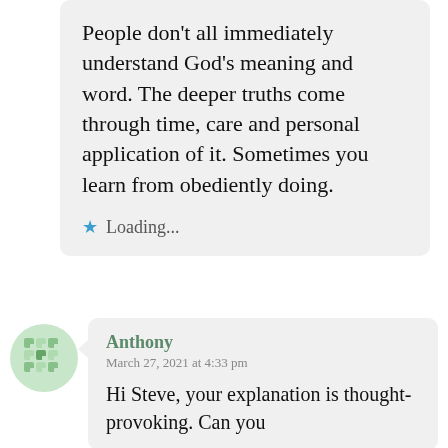People don't all immediately understand God's meaning and word. The deeper truths come through time, care and personal application of it. Sometimes you learn from obediently doing.
★ Loading...
Anthony
March 27, 2021 at 4:33 pm
Hi Steve, your explanation is thought-provoking. Can you